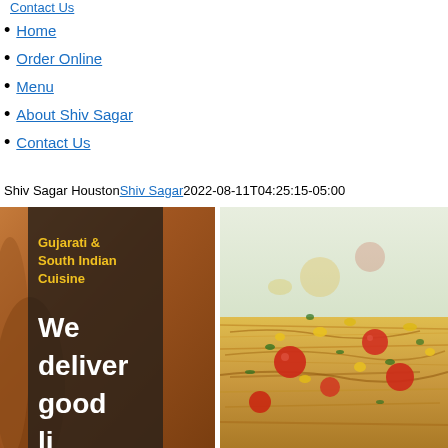Contact Us
Home
Order Online
Menu
About Shiv Sagar
Contact Us
Shiv Sagar HoustonShiv Sagar2022-08-11T04:25:15-05:00
[Figure (photo): Left image: Indian bread/chapati being held by a hand with dark overlay panel showing yellow text 'Gujarati & South Indian Cuisine' and large white bold text 'We deliver good li...']
[Figure (photo): Right image: Close-up of Indian street food (bhel puri/chaat) with sev noodles, tomatoes, corn/chickpeas, and coriander on a light green background]